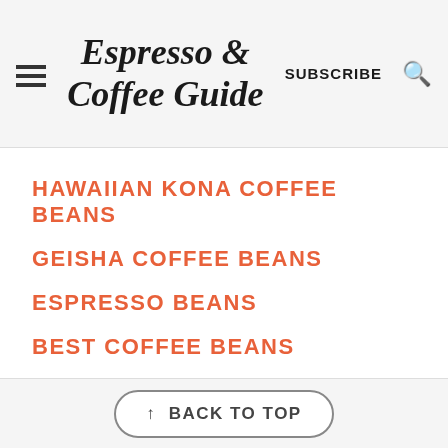Espresso & Coffee Guide — SUBSCRIBE
HAWAIIAN KONA COFFEE BEANS
GEISHA COFFEE BEANS
ESPRESSO BEANS
BEST COFFEE BEANS
↑ BACK TO TOP